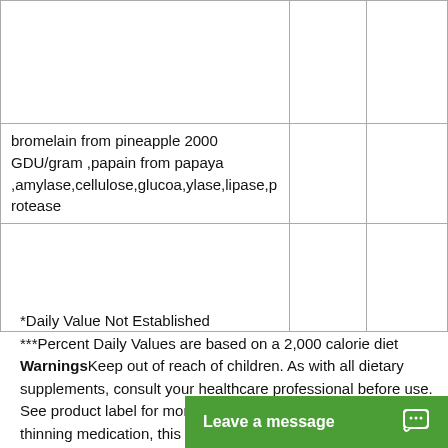| Ingredient |  |  |
| --- | --- | --- |
|  |  |  |
| bromelain from pineapple 2000 GDU/gram ,papain from papaya ,amylase,cellulose,glucoa,ylase,lipase,protease |  |  |
|  |  |  |
*Daily Value Not Established
***Percent Daily Values are based on a 2,000 calorie diet
WarningsKeep out of reach of children. As with all dietary supplements, consult your healthcare professional before use. See product label for more information. If you are on blood thinning medication, this product is not recommended. Keep ou